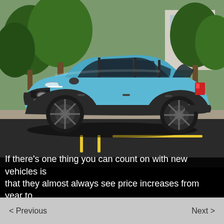[Figure (photo): A light blue Subaru crossover SUV photographed on a road with trees and a building in the background. The car is viewed from a front three-quarter angle.]
If there's one thing you can count on with new vehicles is that they almost always see price increases from year to
< Previous    Next >